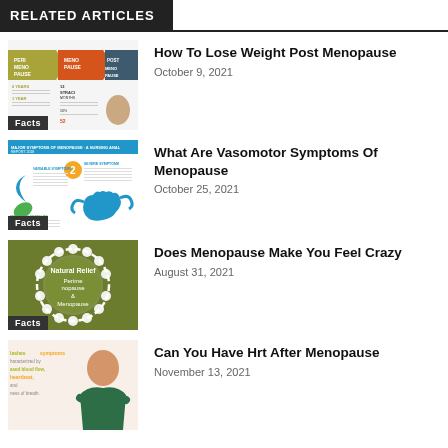RELATED ARTICLES
[Figure (infographic): Thumbnail infographic about perimenopause, menopause, and post menopause stages with colored blocks]
How To Lose Weight Post Menopause
October 9, 2021
[Figure (infographic): Thumbnail infographic about major symptoms of menopause with blue uterus illustration]
What Are Vasomotor Symptoms Of Menopause
October 25, 2021
[Figure (illustration): Olive green background with white scalloped circle containing text: Natural Relief Perimenopause & Menopause]
Does Menopause Make You Feel Crazy
August 31, 2021
[Figure (photo): Photo of older woman with text about hot flashes symptoms characterized by increased blood flow, heartbeat, and shortness of breath]
Can You Have Hrt After Menopause
November 13, 2021